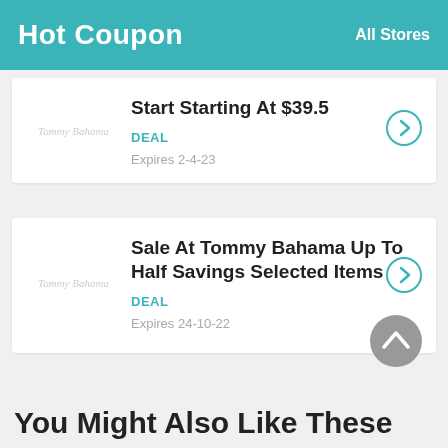Hot Coupon   All Stores
Start Starting At $39.5
DEAL
Expires 2-4-23
Sale At Tommy Bahama Up To Half Savings Selected Items
DEAL
Expires 24-10-22
You Might Also Like These